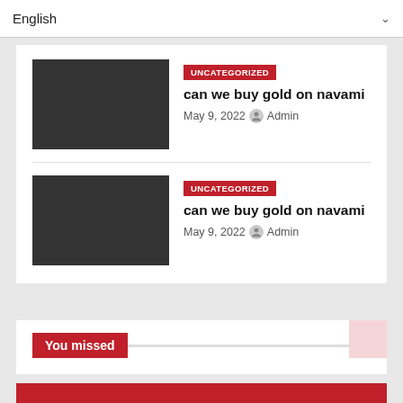English
[Figure (screenshot): Blog post thumbnail 1 - dark gray rectangle placeholder image]
UNCATEGORIZED
can we buy gold on navami
May 9, 2022  Admin
[Figure (screenshot): Blog post thumbnail 2 - dark gray rectangle placeholder image]
UNCATEGORIZED
can we buy gold on navami
May 9, 2022  Admin
You missed